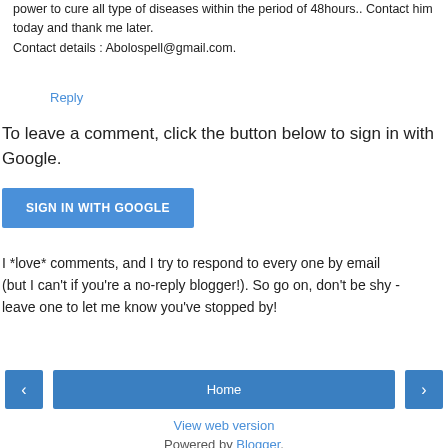power to cure all type of diseases within the period of 48hours.. Contact him today and thank me later. Contact details : Abolospell@gmail.com.
Reply
To leave a comment, click the button below to sign in with Google.
SIGN IN WITH GOOGLE
I *love* comments, and I try to respond to every one by email (but I can't if you're a no-reply blogger!). So go on, don't be shy - leave one to let me know you've stopped by!
Home
View web version
Powered by Blogger.